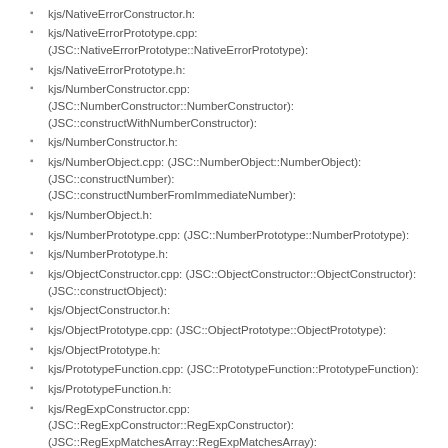kjs/NativeErrorConstructor.h:
kjs/NativeErrorPrototype.cpp: (JSC::NativeErrorPrototype::NativeErrorPrototype):
kjs/NativeErrorPrototype.h:
kjs/NumberConstructor.cpp: (JSC::NumberConstructor::NumberConstructor): (JSC::constructWithNumberConstructor):
kjs/NumberConstructor.h:
kjs/NumberObject.cpp: (JSC::NumberObject::NumberObject): (JSC::constructNumber): (JSC::constructNumberFromImmediateNumber):
kjs/NumberObject.h:
kjs/NumberPrototype.cpp: (JSC::NumberPrototype::NumberPrototype):
kjs/NumberPrototype.h:
kjs/ObjectConstructor.cpp: (JSC::ObjectConstructor::ObjectConstructor): (JSC::constructObject):
kjs/ObjectConstructor.h:
kjs/ObjectPrototype.cpp: (JSC::ObjectPrototype::ObjectPrototype):
kjs/ObjectPrototype.h:
kjs/PrototypeFunction.cpp: (JSC::PrototypeFunction::PrototypeFunction):
kjs/PrototypeFunction.h:
kjs/RegExpConstructor.cpp: (JSC::RegExpConstructor::RegExpConstructor): (JSC::RegExpMatchesArray::RegExpMatchesArray): (JSC::constructRegExp):
kjs/RegExpConstructor.h:
kjs/RegExpObject.cpp: (JSC::RegExpObject::RegExpObject):